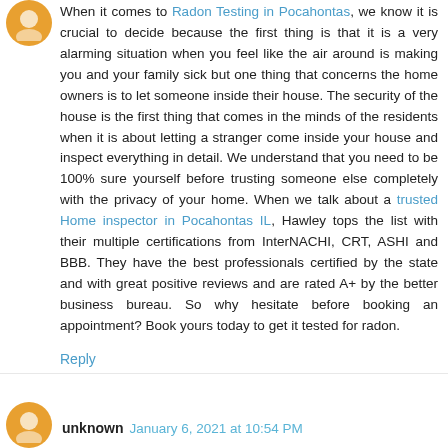When it comes to Radon Testing in Pocahontas, we know it is crucial to decide because the first thing is that it is a very alarming situation when you feel like the air around is making you and your family sick but one thing that concerns the home owners is to let someone inside their house. The security of the house is the first thing that comes in the minds of the residents when it is about letting a stranger come inside your house and inspect everything in detail. We understand that you need to be 100% sure yourself before trusting someone else completely with the privacy of your home. When we talk about a trusted Home inspector in Pocahontas IL, Hawley tops the list with their multiple certifications from InterNACHI, CRT, ASHI and BBB. They have the best professionals certified by the state and with great positive reviews and are rated A+ by the better business bureau. So why hesitate before booking an appointment? Book yours today to get it tested for radon.
Reply
unknown  January 6, 2021 at 10:54 PM